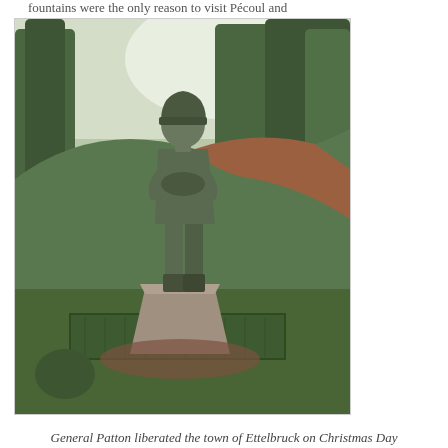fountains were the only reason to visit Pécoul and
[Figure (photo): Bronze statue of General Patton standing on a stone pedestal, surrounded by neatly trimmed square hedges, with a green hillside and trees in the background.]
General Patton liberated the town of Ettelbruck on Christmas Day